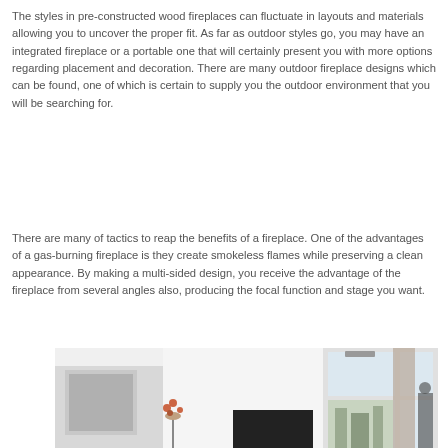The styles in pre-constructed wood fireplaces can fluctuate in layouts and materials allowing you to uncover the proper fit. As far as outdoor styles go, you may have an integrated fireplace or a portable one that will certainly present you with more options regarding placement and decoration. There are many outdoor fireplace designs which can be found, one of which is certain to supply you the outdoor environment that you will be searching for.
There are many of tactics to reap the benefits of a fireplace. One of the advantages of a gas-burning fireplace is they create smokeless flames while preserving a clean appearance. By making a multi-sided design, you receive the advantage of the fireplace from several angles also, producing the focal function and stage you want.
[Figure (photo): Interior room photo showing a modern living space with a white fireplace/partition wall, large floor-to-ceiling windows with curtains, and a city view outside. A vase with flowers is visible on the left side.]